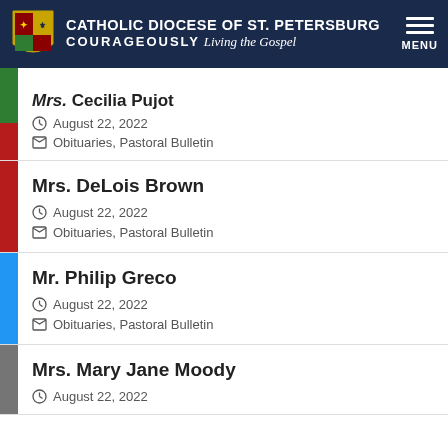CATHOLIC DIOCESE OF ST. PETERSBURG — COURAGEOUSLY Living the Gospel
Mrs. Cecilia Pujot — August 22, 2022 — Obituaries, Pastoral Bulletin
Mrs. DeLois Brown — August 22, 2022 — Obituaries, Pastoral Bulletin
Mr. Philip Greco — August 22, 2022 — Obituaries, Pastoral Bulletin
Mrs. Mary Jane Moody — August 22, 2022